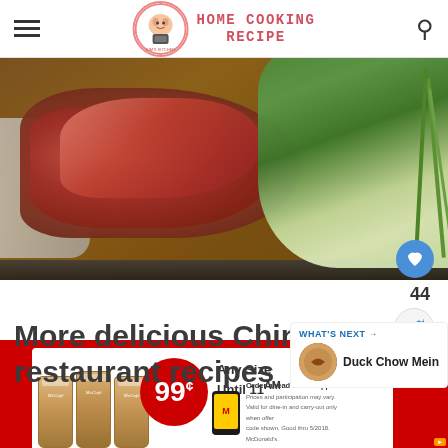HOME COOKING RECIPE
[Figure (photo): Close-up food photo of sliced roasted meat with green onions/leeks on a wooden cutting board]
44
More delicious Chinese restaurant recipes
WHAT'S NEXT → Duck Chow Mein
[Figure (photo): Advertisement banner: McCafe drinks 99¢ Any Size Until 11AM, Order ahead on the app]